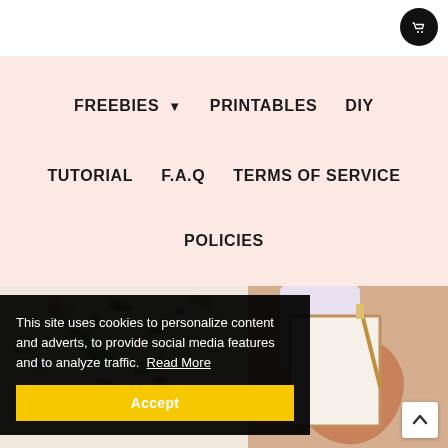[Figure (logo): Shopping cart icon in white on black circle, top right corner]
FREEBIES ▾   PRINTABLES   DIY   TUTORIAL   F.A.Q   TERMS OF SERVICE   POLICIES
[Figure (photo): Person holding a painted canvas/art piece with floral wallpaper background visible]
This site uses cookies to personalize content and adverts, to provide social media features and to analyze traffic.  Read More
Accept